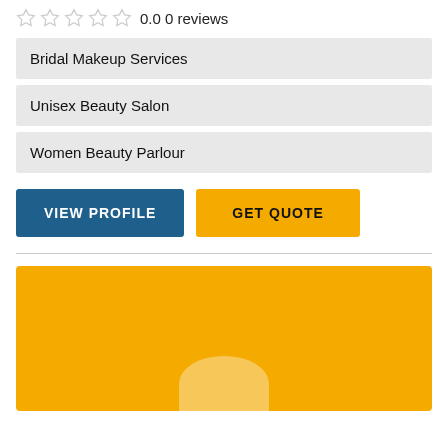0.0 0 reviews
Bridal Makeup Services
Unisex Beauty Salon
Women Beauty Parlour
VIEW PROFILE
GET QUOTE
[Figure (illustration): Yellow card with a semi-circle avatar silhouette at the bottom center, representing a user profile placeholder]